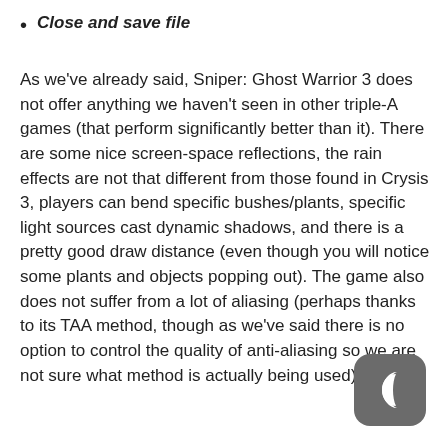Close and save file
As we've already said, Sniper: Ghost Warrior 3 does not offer anything we haven't seen in other triple-A games (that perform significantly better than it). There are some nice screen-space reflections, the rain effects are not that different from those found in Crysis 3, players can bend specific bushes/plants, specific light sources cast dynamic shadows, and there is a pretty good draw distance (even though you will notice some plants and objects popping out). The game also does not suffer from a lot of aliasing (perhaps thanks to its TAA method, though as we've said there is no option to control the quality of anti-aliasing so we are not sure what method is actually being used).
[Figure (logo): Dark grey rounded square logo with a crescent moon C shape in white]